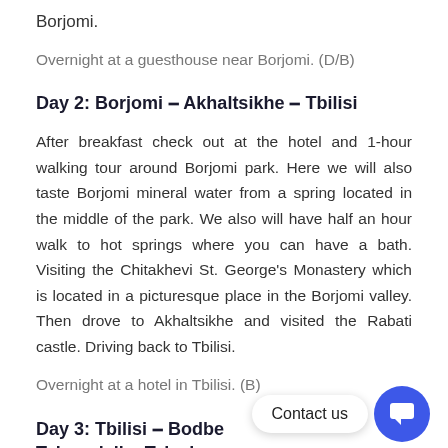Borjomi.
Overnight at a guesthouse near Borjomi. (D/B)
Day 2: Borjomi – Akhaltsikhe – Tbilisi
After breakfast check out at the hotel and 1-hour walking tour around Borjomi park. Here we will also taste Borjomi mineral water from a spring located in the middle of the park. We also will have half an hour walk to hot springs where you can have a bath. Visiting the Chitakhevi St. George's Monastery which is located in a picturesque place in the Borjomi valley. Then drove to Akhaltsikhe and visited the Rabati castle. Driving back to Tbilisi.
Overnight at a hotel in Tbilisi. (B)
Day 3: Tbilisi – Bodbe – Sighnaghi – Tsinandali – Telavi